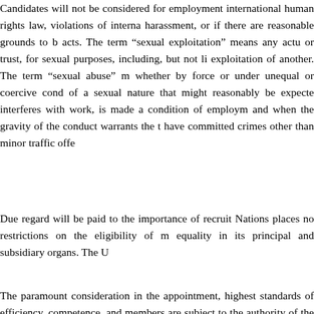Candidates will not be considered for employment if they have been convicted of violations of international human rights law, violations of international humanitarian law, sexual exploitation, sexual abuse, sexual harassment, or if there are reasonable grounds to believe that they have been involved in the commission of any such acts. The term "sexual exploitation" means any actual or attempted abuse of a position of vulnerability, differential power, or trust, for sexual purposes, including, but not limited to, profiting monetarily, socially or politically from the sexual exploitation of another. The term "sexual abuse" means the actual or threatened physical intrusion of a sexual nature, whether by force or under unequal or coercive conditions. The term "sexual harassment" means any unwelcome conduct of a sexual nature that might reasonably be expected or be perceived to cause offence or humiliation, when such conduct interferes with work, is made a condition of employment or creates an intimidating, hostile or offensive work environment, and when the gravity of the conduct warrants the termination of the perpetrator's working relationship. Candidates who have committed crimes other than minor traffic offences may not be considered for employment.
Due regard will be paid to the importance of recruiting the staff on as wide a geographical basis as possible. The United Nations places no restrictions on the eligibility of men and women to participate in any capacity and under conditions of equality in its principal and subsidiary organs. The United Nations Secretariat is a non-smoking environment.
The paramount consideration in the appointment, transfer, or promotion of staff shall be the necessity of securing the highest standards of efficiency, competence, and integrity. By accepting an offer of appointment, United Nations staff members are subject to the authority of the Secretary-General and assignment by him or her to any of the activities or offices of the United Nations in accordance with staff regulations and rules. In this context, all internationally recruited staff are required to move periodically to discharge new functions within or across duty stations under conditions established by the Secretary-General.